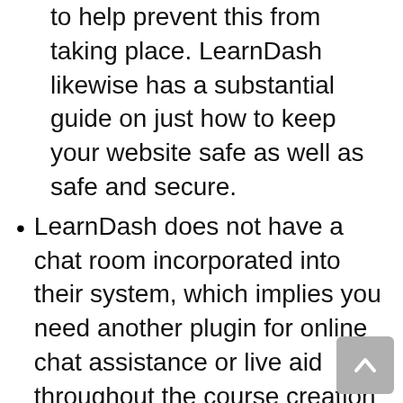to help prevent this from taking place. LearnDash likewise has a substantial guide on just how to keep your website safe as well as safe and secure.
LearnDash does not have a chat room incorporated into their system, which implies you need another plugin for online chat assistance or live aid throughout the course creation procedure. This isn't suitable since it is very important students feel they can reach out if needed.
The cost might seem too much compared to most of the various other available LMS plugins (Nelio is